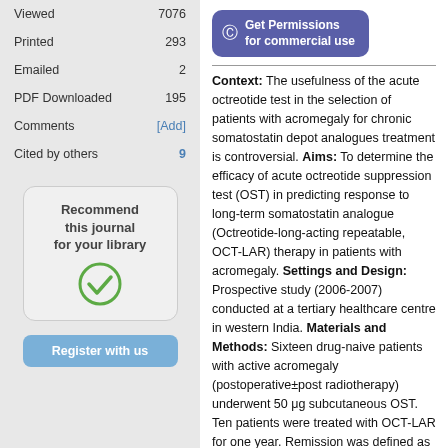|  |  |
| --- | --- |
| Viewed | 7076 |
| Printed | 293 |
| Emailed | 2 |
| PDF Downloaded | 195 |
| Comments | [Add] |
| Cited by others | 9 |
[Figure (infographic): Recommend this journal for your library button with green checkmark icon]
[Figure (infographic): Register with us button (partially visible at bottom)]
[Figure (infographic): Get Permissions for commercial use button with copyright icon]
Context: The usefulness of the acute octreotide test in the selection of patients with acromegaly for chronic somatostatin depot analogues treatment is controversial. Aims: To determine the efficacy of acute octreotide suppression test (OST) in predicting response to long-term somatostatin analogue (Octreotide-long-acting repeatable, OCT-LAR) therapy in patients with acromegaly. Settings and Design: Prospective study (2006-2007) conducted at a tertiary healthcare centre in western India. Materials and Methods: Sixteen drug-naive patients with active acromegaly (postoperative±post radiotherapy) underwent 50 μg subcutaneous OST. Ten patients were treated with OCT-LAR for one year. Remission was defined as a nadir growth hormone (GH) <1 ng/ml during